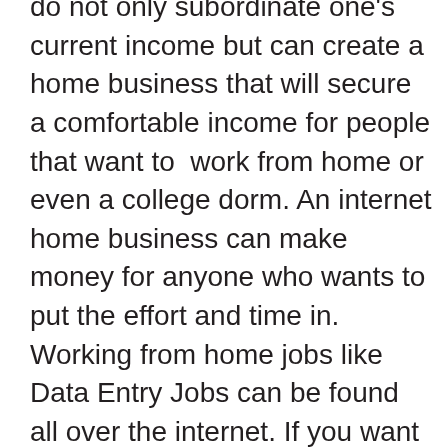do not only subordinate one's current income but can create a home business that will secure a comfortable income for people that want to  work from home or even a college dorm. An internet home business can make money for anyone who wants to put the effort and time in. Working from home jobs like Data Entry Jobs can be found all over the internet. If you want to find a home business that you can work from home, you will need to figure out what type of interest you have and if that is something you are willing to do to make money with in a new home business. Work from home data entry is just one of the few that seems to be a good way to make some money on the internet. When searching the internet, you will want...